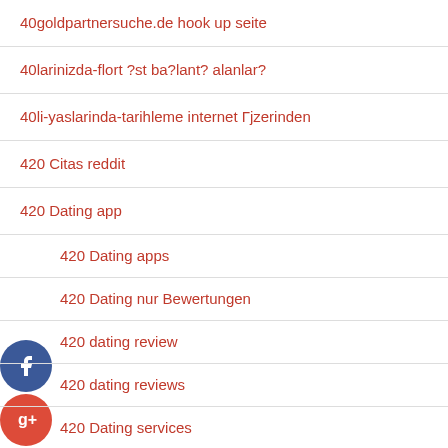40goldpartnersuche.de hook up seite
40larinizda-flort ?st ba?lant? alanlar?
40li-yaslarinda-tarihleme internet Гjzerinden
420 Citas reddit
420 Dating app
420 Dating apps
420 Dating nur Bewertungen
420 dating review
420 dating reviews
420 Dating services